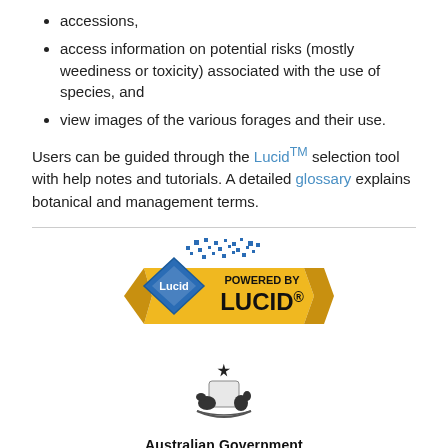accessions,
access information on potential risks (mostly weediness or toxicity) associated with the use of species, and
view images of the various forages and their use.
Users can be guided through the Lucid™ selection tool with help notes and tutorials. A detailed glossary explains botanical and management terms.
[Figure (logo): Powered by Lucid logo — blue diamond with Lucid text, gold ribbon banner with LUCID® text and blue pixel decoration above]
[Figure (logo): Australian Government coat of arms logo]
Australian Government